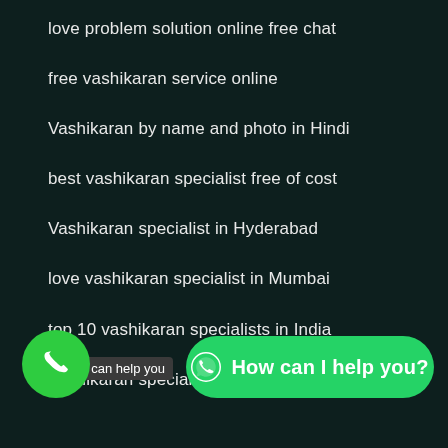love problem solution online free chat
free vashikaran service online
Vashikaran by name and photo in Hindi
best vashikaran specialist free of cost
Vashikaran specialist in Hyderabad
love vashikaran specialist in Mumbai
top 10 vashikaran specialists in India
Vashikaran specialist free of cost
[Figure (screenshot): Bottom UI bar with a green phone call button on the left, a tooltip 'I can help you' in the middle, and a green WhatsApp button saying 'How can I help you?' on the right]